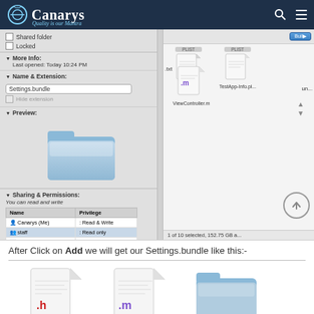[Figure (screenshot): Canarys website header with logo and navigation icons (search, menu) on dark navy background with tagline 'Quality is our Mantra']
[Figure (screenshot): macOS Finder Info panel showing Settings.bundle file info with More Info, Name & Extension, Preview (folder icon), and Sharing & Permissions sections; alongside a Finder window showing Root.plist, TestApp-Info.plist, ViewController.m files]
After Click on Add we will get our Settings.bundle like this:-
[Figure (screenshot): Three file icons: a .h header file, a .m source file, and a folder icon representing Settings.bundle contents]